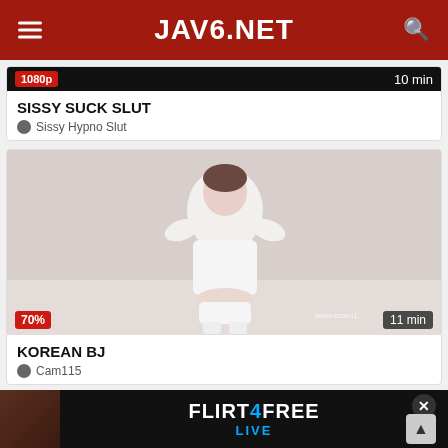JAV6.NET
1080p   10 min
SISSY SUCK SLUT
Sissy Hypno Slut
[Figure (photo): Video thumbnail showing a person in white clothing standing in a bedroom setting. Overlay shows 70% rating badge bottom-left and 11 min duration bottom-right. Watermark www.kcam1... visible.]
KOREAN BJ
Cam115
[Figure (screenshot): Advertisement banner for FLIRT4FREE with text FLIRT4FREE and LIVE below it, close button X top right, scroll button bottom right.]